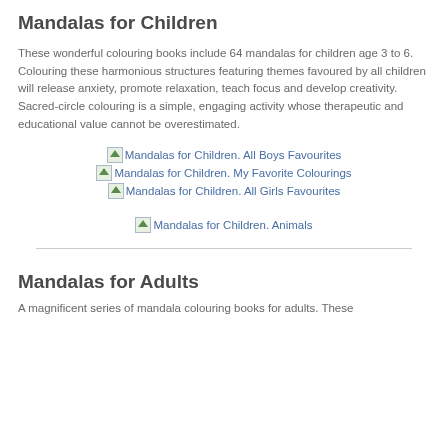Mandalas for Children
These wonderful colouring books include 64 mandalas for children age 3 to 6. Colouring these harmonious structures featuring themes favoured by all children will release anxiety, promote relaxation, teach focus and develop creativity. Sacred-circle colouring is a simple, engaging activity whose therapeutic and educational value cannot be overestimated.
[Figure (illustration): Three book cover images displayed in a group: Mandalas for Children. All Boys Favourites, Mandalas for Children. My Favorite Colourings, Mandalas for Children. All Girls Favourites]
[Figure (illustration): Book cover image: Mandalas for Children. Animals]
Mandalas for Adults
A magnificent series of mandala colouring books for adults. These